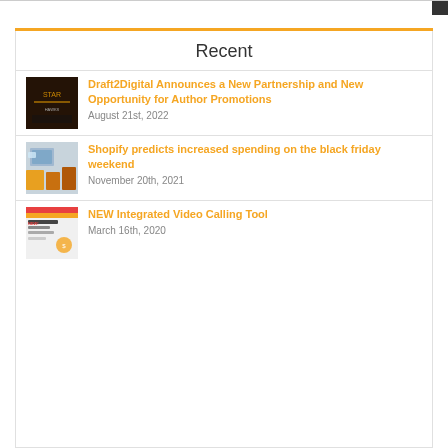Recent
Draft2Digital Announces a New Partnership and New Opportunity for Author Promotions
August 21st, 2022
Shopify predicts increased spending on the black friday weekend
November 20th, 2021
NEW Integrated Video Calling Tool
March 16th, 2020